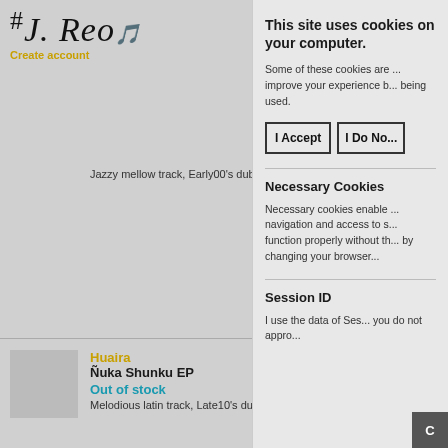#J. Reo (アイレコ) — Create account
Jazzy mellow track, Early00's dub fr...
Huaira
Ñuka Shunku EP
Out of stock
Melodious latin track, Late10's dub fr...
Jah Shaka
Far-I Ship Dub
Out of stock
Funky track, Early90's dub from UK.
King Tubby & Soul Syndica...
Freedom Sounds In Dub
This site uses cookies on your computer.
Some of these cookies are ... improve your experience b... being used.
I Accept    I Do No...
Necessary Cookies
Necessary cookies enable ... navigation and access to s... function properly without th... by changing your browser...
Session ID
I use the data of Ses... you do not appro...